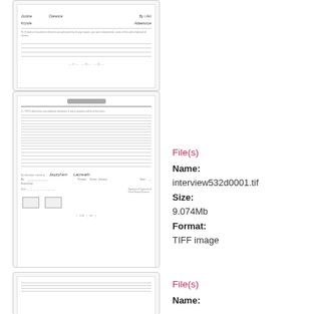[Figure (other): Partial thumbnail of a scanned government interview form, showing signature lines and handwritten text at the bottom]
[Figure (other): Full thumbnail of a scanned government interview form page with lined writing area, signature block, and stamps at bottom]
File(s)
Name:
interview532d0001.tif
Size:
9.074Mb
Format:
TIFF image
File(s)
Name:
[Figure (other): Partial thumbnail of another scanned government form, partially visible at bottom of page]